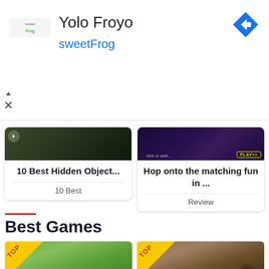[Figure (screenshot): Advertisement banner for sweetFrog Yolo Froyo with logo, title, subtitle and navigation arrow]
Yolo Froyo
sweetFrog
[Figure (screenshot): Card with dark nature scene image and text: 10 Best Hidden Object... tagged as 10 Best]
10 Best Hidden Object...
10 Best
[Figure (screenshot): Card with dark fantasy scene image and text: Hop onto the matching fun in ... tagged as Review]
Hop onto the matching fun in ...
Review
Best Games
[Figure (screenshot): Farm/village game thumbnail with TOP badge]
[Figure (screenshot): Medieval town game thumbnail with TOP badge]